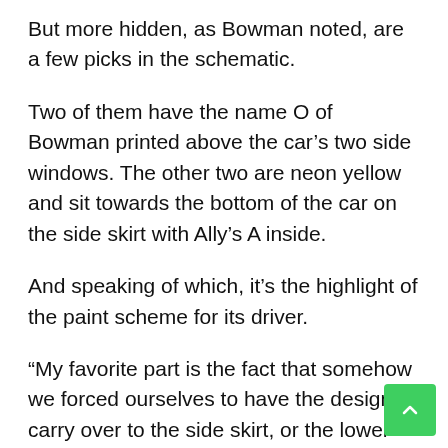But more hidden, as Bowman noted, are a few picks in the schematic.
Two of them have the name O of Bowman printed above the car’s two side windows. The other two are neon yellow and sit towards the bottom of the car on the side skirt with Ally’s A inside.
And speaking of which, it’s the highlight of the paint scheme for its driver.
“My favorite part is the fact that somehow we forced ourselves to have the design carry over to the side skirt, or the lower body, of the car. , you see that black this year. With the automaker’s cars, that area has always been black, and I think it looks really, really cool with the design going